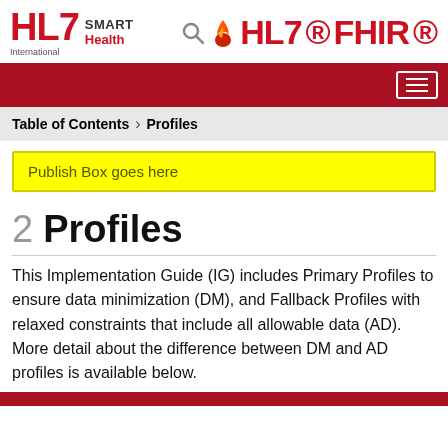HL7 International SMART Health | HL7 FHIR
Table of Contents > Profiles
Publish Box goes here
2 Profiles
This Implementation Guide (IG) includes Primary Profiles to ensure data minimization (DM), and Fallback Profiles with relaxed constraints that include all allowable data (AD). More detail about the difference between DM and AD profiles is available below.